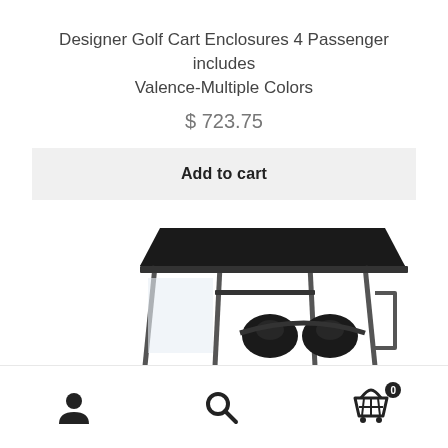Designer Golf Cart Enclosures 4 Passenger includes Valence-Multiple Colors
$ 723.75
Add to cart
[Figure (photo): Photo of a 4-passenger golf cart showing a black roof canopy and seating area, viewed from a diagonal angle against a white background.]
Navigation bar with user account icon, search icon, and shopping cart icon with badge showing 0